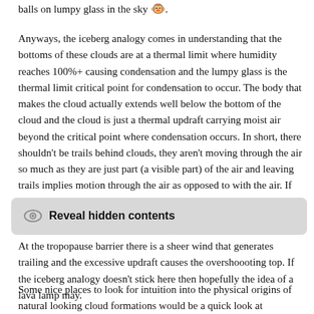balls on lumpy glass in the sky 🐵.
Anyways, the iceberg analogy comes in understanding that the bottoms of these clouds are at a thermal limit where humidity reaches 100%+ causing condensation and the lumpy glass is the thermal limit critical point for condensation to occur. The body that makes the cloud actually extends well below the bottom of the cloud and the cloud is just a thermal updraft carrying moist air beyond the critical point where condensation occurs. In short, there shouldn't be trails behind clouds, they aren't moving through the air so much as they are just part (a visible part) of the air and leaving trails implies motion through the air as opposed to with the air. If the updraft is great enough a cumulous cloud becomes a cumulonimbus cloud generating one of these beautiful creatures:
[Figure (infographic): A rounded grey button/box labeled 'Reveal hidden contents' with an eye icon on the left.]
At the tropopause barrier there is a sheer wind that generates trailing and the excessive updraft causes the overshoooting top. If the iceberg analogy doesn't stick here then hopefully the idea of a lava lamp may.
Some nice places to look for intuition into the physical origins of natural looking cloud formations would be a quick look at Rayleigh–Taylor